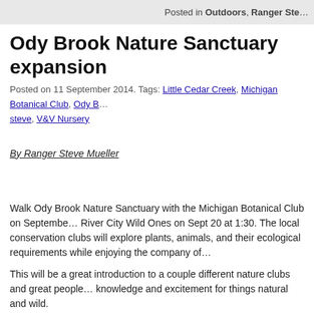Posted in Outdoors, Ranger Ste…
Ody Brook Nature Sanctuary expansion
Posted on 11 September 2014. Tags: Little Cedar Creek, Michigan Botanical Club, Ody B…, steve, V&V Nursery
By Ranger Steve Mueller
Walk Ody Brook Nature Sanctuary with the Michigan Botanical Club on Septembe… River City Wild Ones on Sept 20 at 1:30. The local conservation clubs will explore plants, animals, and their ecological requirements while enjoying the company of…
This will be a great introduction to a couple different nature clubs and great people… knowledge and excitement for things natural and wild.
Ody Brook is managed to enhance nature's biodiversity to support a healthy and s… The sanctuary is located in the headwaters for Little Cedar Creek south of Cedar… across the road from V&V Nursery. Come explore nature and meet nature enthusi… groups.